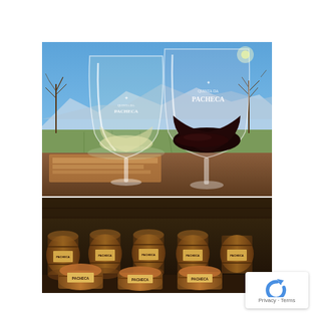[Figure (photo): Two wine glasses etched with 'Quinta da Pacheca' logo — one with white wine, one with red wine — set against a vineyard backdrop with blue sky, bare trees, and mountains in the distance. A wooden table is visible in the foreground.]
[Figure (photo): Wine barrels stacked and labeled 'Pacheca', stored in a cellar or cave-like storage area with stone walls. The barrels are wooden with metal hoops and yellow/orange labels.]
Privacy · Terms